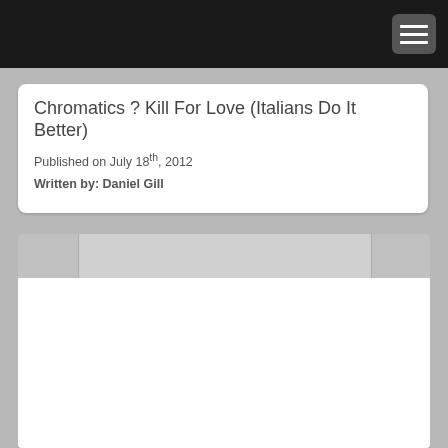Chromatics ? Kill For Love (Italians Do It Better)
Published on July 18th, 2012
Written by: Daniel Gill
[Figure (screenshot): Navigation tabs strip with left tab, center tab, and right tab areas in gray]
[Figure (screenshot): White content area below navigation tabs, empty]